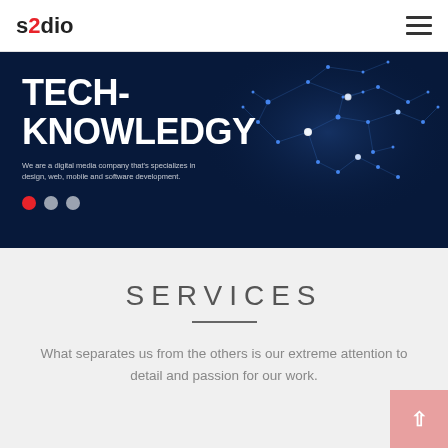s2dio
[Figure (screenshot): Dark navy hero banner with a glowing blue world map made of connected dots/lines in the background. White bold text reads TECH-KNOWLEDGY. Below are subtitle text and three circular slider dots (first red, two white).]
TECH-KNOWLEDGY
We are a digital media company that's specializes in design, web, mobile and software development.
SERVICES
What separates us from the others is our extreme attention to detail and passion for our work.